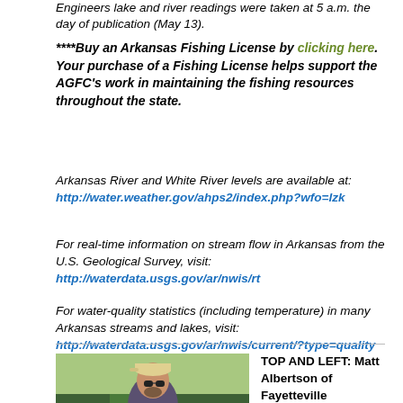Engineers lake and river readings were taken at 5 a.m. the day of publication (May 13).
****Buy an Arkansas Fishing License by clicking here. Your purchase of a Fishing License helps support the AGFC's work in maintaining the fishing resources throughout the state.
Arkansas River and White River levels are available at: http://water.weather.gov/ahps2/index.php?wfo=lzk
For real-time information on stream flow in Arkansas from the U.S. Geological Survey, visit: http://waterdata.usgs.gov/ar/nwis/rt
For water-quality statistics (including temperature) in many Arkansas streams and lakes, visit: http://waterdata.usgs.gov/ar/nwis/current/?type=quality
[Figure (photo): Photo of Matt Albertson of Fayetteville, a man wearing sunglasses and a cap, outdoors with trees in background]
TOP AND LEFT: Matt Albertson of Fayetteville